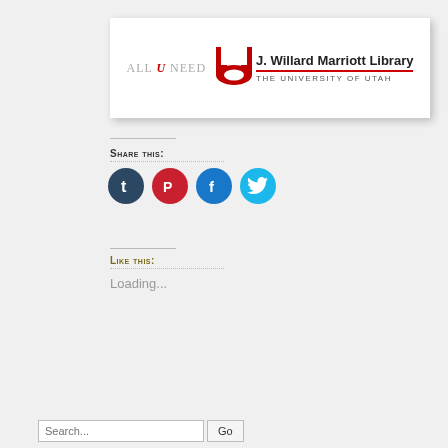[Figure (logo): J. Willard Marriott Library, University of Utah logo banner with 'All U Need' text and red U logo]
Share this:
[Figure (infographic): Four social media share buttons: Tumblr (dark navy), Pinterest (red), Facebook (blue), Twitter (light blue)]
Like this:
Loading...